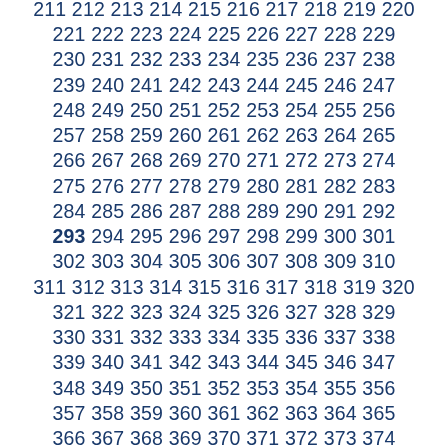192 193 194 195 196 197 198 199 200 201 202 203 204 205 206 207 208 209 210 211 212 213 214 215 216 217 218 219 220 221 222 223 224 225 226 227 228 229 230 231 232 233 234 235 236 237 238 239 240 241 242 243 244 245 246 247 248 249 250 251 252 253 254 255 256 257 258 259 260 261 262 263 264 265 266 267 268 269 270 271 272 273 274 275 276 277 278 279 280 281 282 283 284 285 286 287 288 289 290 291 292 293 294 295 296 297 298 299 300 301 302 303 304 305 306 307 308 309 310 311 312 313 314 315 316 317 318 319 320 321 322 323 324 325 326 327 328 329 330 331 332 333 334 335 336 337 338 339 340 341 342 343 344 345 346 347 348 349 350 351 352 353 354 355 356 357 358 359 360 361 362 363 364 365 366 367 368 369 370 371 372 373 374 375 376 377 378 379 380 381 382 383 384 385 386 387 388 389 390 391 392